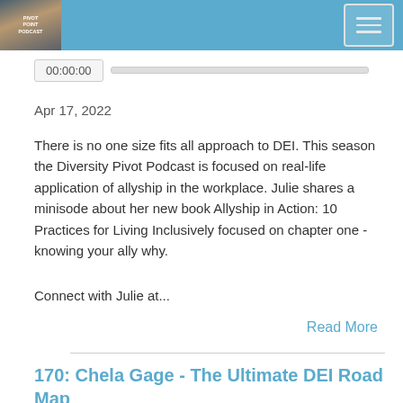Pivot Point Podcast
00:00:00
Apr 17, 2022
There is no one size fits all approach to DEI. This season the Diversity Pivot Podcast is focused on real-life application of allyship in the workplace. Julie shares a minisode about her new book Allyship in Action: 10 Practices for Living Inclusively focused on chapter one - knowing your ally why.
Connect with Julie at...
Read More
170: Chela Gage - The Ultimate DEI Road Map
[Figure (other): Podcast episode play button and audio progress bar]